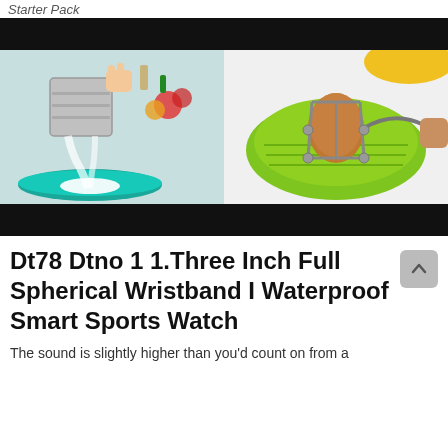Starter Pack
[Figure (photo): Two kitchen tool photos side by side: left shows a flour sifter sifting white powder onto a teal plate with vegetables in background; right shows a green strainer/colander holding an egg with metal egg cracker tool]
Dt78 Dtno 1 1.Three Inch Full Spherical Wristband I Waterproof Smart Sports Watch
The sound is slightly higher than you'd count on from a